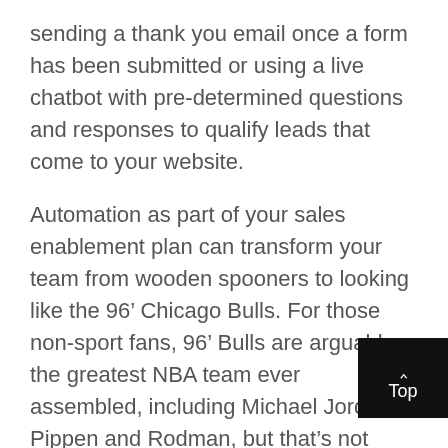sending a thank you email once a form has been submitted or using a live chatbot with pre-determined questions and responses to qualify leads that come to your website.
Automation as part of your sales enablement plan can transform your team from wooden spooners to looking like the 96’ Chicago Bulls. For those non-sport fans, 96’ Bulls are arguably the greatest NBA team ever assembled, including Michael Jordan, Pippen and Rodman, but that’s not important now. What’s important is setting your team up to